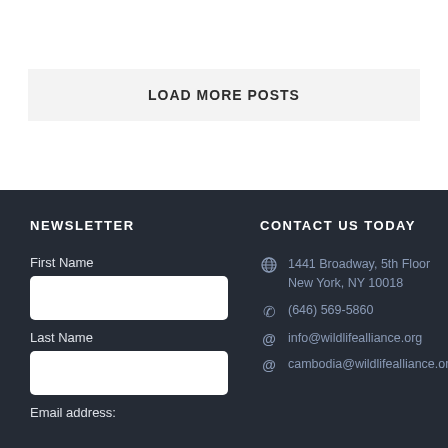LOAD MORE POSTS
NEWSLETTER
First Name
Last Name
Email address:
CONTACT US TODAY
1441 Broadway, 5th Floor New York, NY 10018
(646) 569-5860
info@wildlifealliance.org
cambodia@wildlifealliance.org